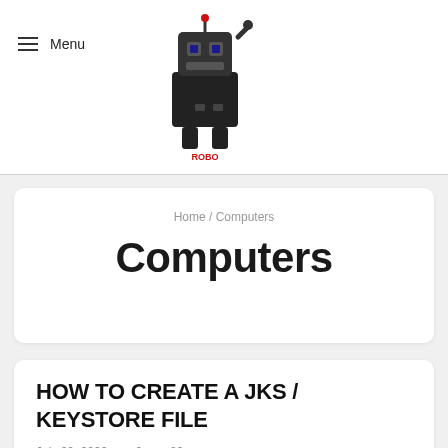Menu
[Figure (logo): Robo Technical robot mascot logo with text ROBO TECHNICAL in red and black pixelated style]
Home / Computers
Computers
HOW TO CREATE A JKS / KEYSTORE FILE
July 20, 2020   0   82